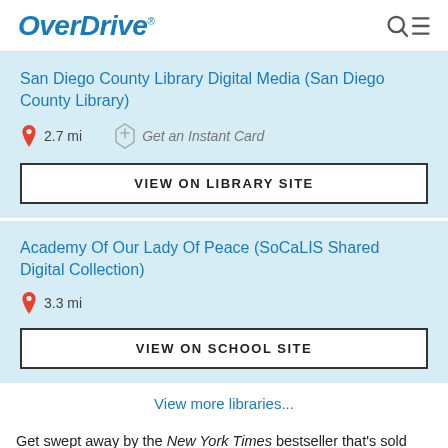OverDrive
San Diego County Library Digital Media (San Diego County Library)
2.7 mi   Get an Instant Card
VIEW ON LIBRARY SITE
Academy Of Our Lady Of Peace (SoCaLIS Shared Digital Collection)
3.3 mi
VIEW ON SCHOOL SITE
View more libraries...
Get swept away by the New York Times bestseller that's sold over